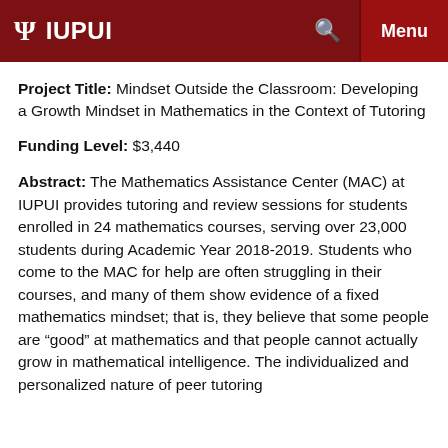IUPUI
Project Title: Mindset Outside the Classroom: Developing a Growth Mindset in Mathematics in the Context of Tutoring
Funding Level: $3,440
Abstract: The Mathematics Assistance Center (MAC) at IUPUI provides tutoring and review sessions for students enrolled in 24 mathematics courses, serving over 23,000 students during Academic Year 2018-2019. Students who come to the MAC for help are often struggling in their courses, and many of them show evidence of a fixed mathematics mindset; that is, they believe that some people are “good” at mathematics and that people cannot actually grow in mathematical intelligence. The individualized and personalized nature of peer tutoring